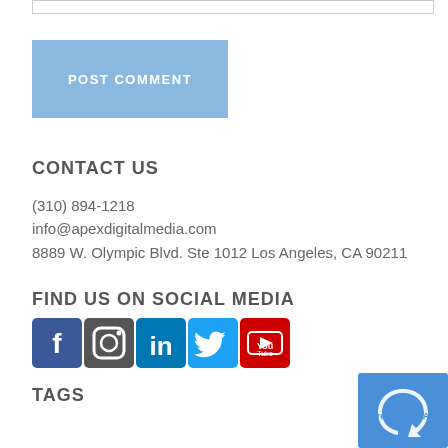[input field]
POST COMMENT
CONTACT US
(310) 894-1218
info@apexdigitalmedia.com
8889 W. Olympic Blvd. Ste 1012 Los Angeles, CA 90211
FIND US ON SOCIAL MEDIA
[Figure (illustration): Social media icons: Facebook, Instagram, LinkedIn, Twitter, YouTube]
TAGS